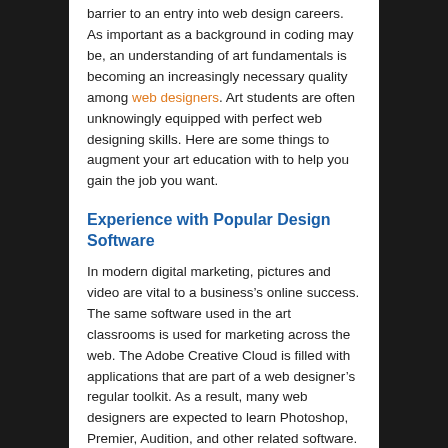barrier to an entry into web design careers. As important as a background in coding may be, an understanding of art fundamentals is becoming an increasingly necessary quality among web designers. Art students are often unknowingly equipped with perfect web designing skills. Here are some things to augment your art education with to help you gain the job you want.
Experience with Popular Design Software
In modern digital marketing, pictures and video are vital to a business’s online success. The same software used in the art classrooms is used for marketing across the web. The Adobe Creative Cloud is filled with applications that are part of a web designer’s regular toolkit. As a result, many web designers are expected to learn Photoshop, Premier, Audition, and other related software. Those students entering web design from an artistic background should already be experienced with this software.
An Eye for Contrast